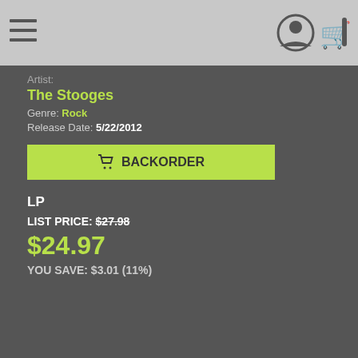[Figure (screenshot): Navigation bar with hamburger menu icon on left, user account icon and shopping cart icon on right, gray background]
Artist: The Stooges
Genre: Rock
Release Date: 5/22/2012
BACKORDER (button)
LP
LIST PRICE: $27.98
$24.97
YOU SAVE: $3.01 (11%)
This website uses cookies
We use cookies to personalise content and ads, to provide social media features and to analyse our traffic. We also share information about your use of our site with our social media, advertising and analytics partners who may combine it with other information that you've provided to them or that they've collected from your use of their services.
OK
Show details